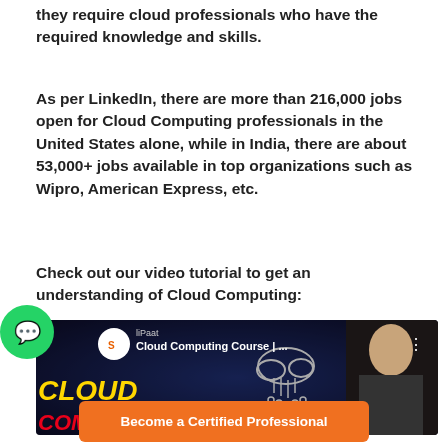they require cloud professionals who have the required knowledge and skills.
As per LinkedIn, there are more than 216,000 jobs open for Cloud Computing professionals in the United States alone, while in India, there are about 53,000+ jobs available in top organizations such as Wipro, American Express, etc.
Check out our video tutorial to get an understanding of Cloud Computing:
[Figure (screenshot): Video thumbnail for 'Cloud Computing Course' by Simplilearn, showing a dark blue background with cloud computing graphics and a person's face on the right side. Includes WhatsApp chat button overlay.]
Become a Certified Professional